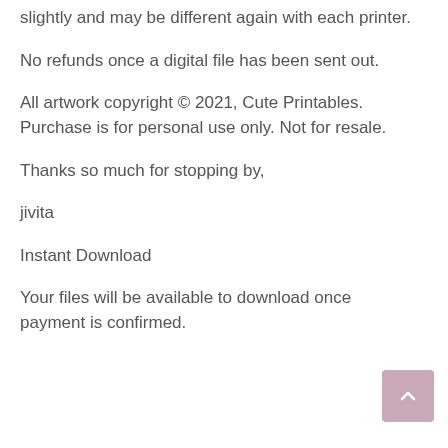slightly and may be different again with each printer.
No refunds once a digital file has been sent out.
All artwork copyright © 2021, Cute Printables. Purchase is for personal use only. Not for resale.
Thanks so much for stopping by,
jivita
Instant Download
Your files will be available to download once payment is confirmed.